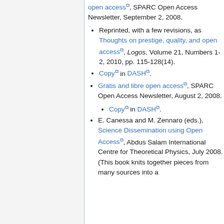open access, SPARC Open Access Newsletter, September 2, 2008.
Reprinted, with a few revisions, as Thoughts on prestige, quality, and open access, Logos, Volume 21, Numbers 1-2, 2010, pp. 115-128(14).
Copy in DASH.
Gratis and libre open access, SPARC Open Access Newsletter, August 2, 2008.
Copy in DASH.
E. Canessa and M. Zennaro (eds.), Science Dissemination using Open Access, Abdus Salam International Centre for Theoretical Physics, July 2008. (This book knits together pieces from many sources into a